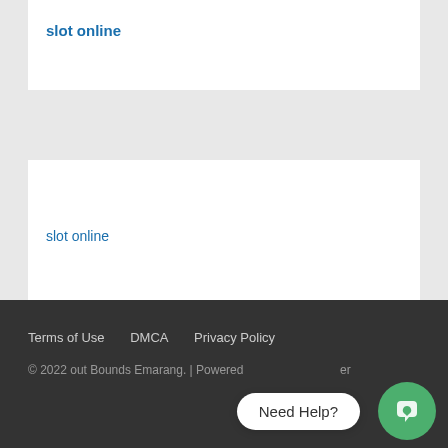slot online
slot online
daftar judi online
Terms of Use   DMCA   Privacy Policy
© 2022 out Bounds Emarang. | Powered...